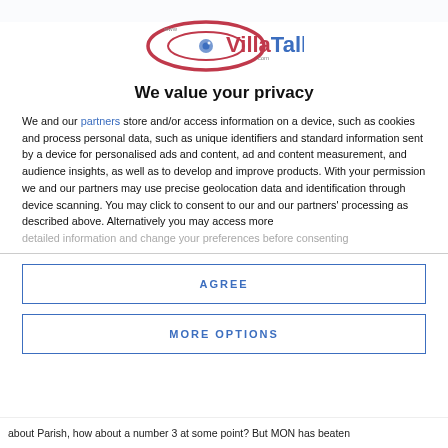[Figure (logo): VillaTalk.com logo — oval/eye shape in red/pink outline with stylized eye icon, text 'VillaTalk' with 'www' and '.com' in small text]
We value your privacy
We and our partners store and/or access information on a device, such as cookies and process personal data, such as unique identifiers and standard information sent by a device for personalised ads and content, ad and content measurement, and audience insights, as well as to develop and improve products. With your permission we and our partners may use precise geolocation data and identification through device scanning. You may click to consent to our and our partners' processing as described above. Alternatively you may access more detailed information and change your preferences before consenting
AGREE
MORE OPTIONS
about Parish, how about a number 3 at some point? But MON has beaten